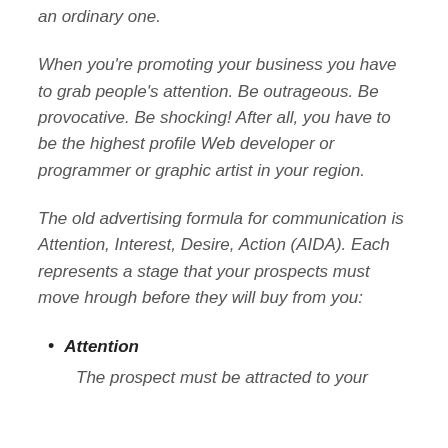an ordinary one.
When you're promoting your business you have to grab people's attention. Be outrageous. Be provocative. Be shocking! After all, you have to be the highest profile Web developer or programmer or graphic artist in your region.
The old advertising formula for communication is Attention, Interest, Desire, Action (AIDA). Each represents a stage that your prospects must move hrough before they will buy from you:
Attention
The prospect must be attracted to your